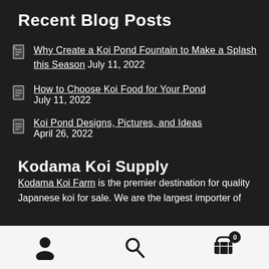Recent Blog Posts
Why Create a Koi Pond Fountain to Make a Splash this Season July 11, 2022
How to Choose Koi Food for Your Pond July 11, 2022
Koi Pond Designs, Pictures, and Ideas April 26, 2022
Kodama Koi Supply
Kodama Koi Farm is the premier destination for quality Japanese koi for sale. We are the largest importer of Koi in